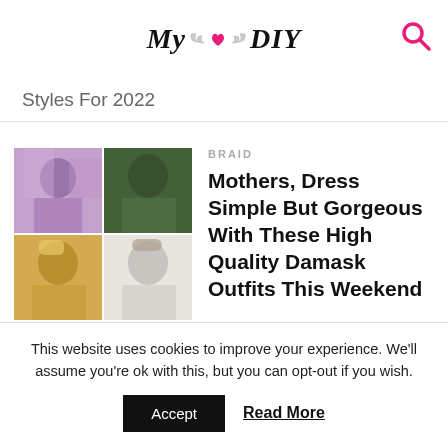My ♥ DIY
Styles For 2022
[Figure (photo): Collage of four images showing women in colorful African damask/aso-oke outfits]
BRAID
Mothers, Dress Simple But Gorgeous With These High Quality Damask Outfits This Weekend
DMCA POLICY   DISCLAIMER   PRIVACY POLICY   REMOVAL REQUEST   SITEMAP   MANORALA   STYLISTHEART   IMAGE DISCLAIMER
This website uses cookies to improve your experience. We'll assume you're ok with this, but you can opt-out if you wish.